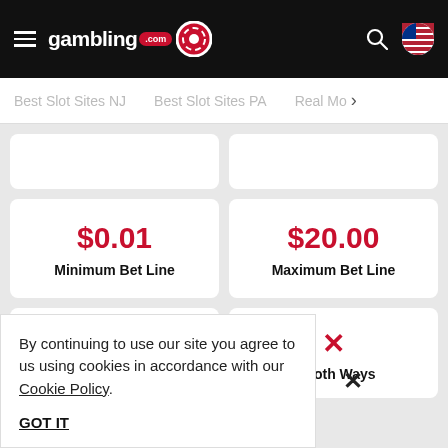gambling.com
Best Slot Sites NJ | Best Slot Sites PA | Real Mo >
$0.01 Minimum Bet Line
$20.00 Maximum Bet Line
20
× Win Both Ways
By continuing to use our site you agree to us using cookies in accordance with our Cookie Policy. GOT IT